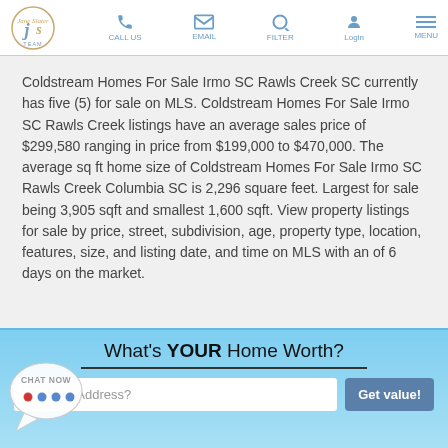JS Team — CALL US | EMAIL | FILTER | Login | MENU
Coldstream Homes For Sale Irmo SC Rawls Creek SC currently has five (5) for sale on MLS. Coldstream Homes For Sale Irmo SC Rawls Creek listings have an average sales price of $299,580 ranging in price from $199,000 to $470,000. The average sq ft home size of Coldstream Homes For Sale Irmo SC Rawls Creek Columbia SC is 2,296 square feet. Largest for sale being 3,905 sqft and smallest 1,600 sqft. View property listings for sale by price, street, subdivision, age, property type, location, features, size, and listing date, and time on MLS with an of 6 days on the market.
[Figure (infographic): What's YOUR Home Worth? address input widget with Get value! button]
[Figure (infographic): Chat now bubble in bottom left corner]